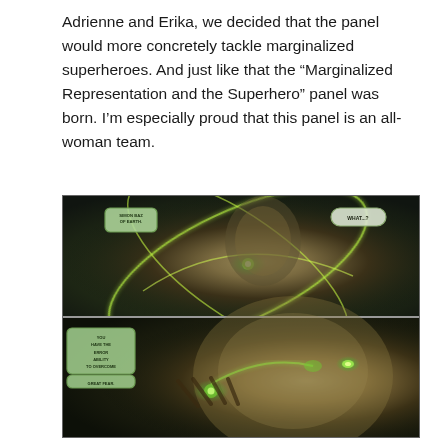Adrienne and Erika, we decided that the panel would more concretely tackle marginalized superheroes. And just like that the “Marginalized Representation and the Superhero” panel was born. I’m especially proud that this panel is an all-woman team.
[Figure (illustration): Two-panel comic book artwork showing Simon Baz of Earth, a Green Lantern superhero. Top panel: a man in a green lantern outfit surrounded by glowing orbital ring energy lines, with speech bubbles reading 'SIMON BAZ OF EARTH.' and 'WHAT...?'. Bottom panel: close-up of the same character's face with glowing green eyes and a glowing green ring on his finger, with speech bubbles reading 'YOU HAVE THE ERROR ABILITY TO OVERCOME GREAT FEAR.']